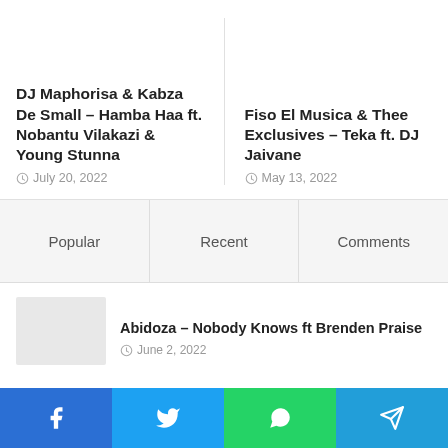DJ Maphorisa & Kabza De Small – Hamba Haa ft. Nobantu Vilakazi & Young Stunna
July 20, 2022
Fiso El Musica & Thee Exclusives – Teka ft. DJ Jaivane
May 13, 2022
Popular
Recent
Comments
Abidoza – Nobody Knows ft Brenden Praise
June 2, 2022